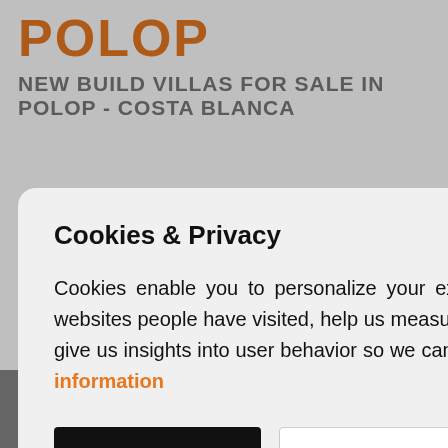POLOP
NEW BUILD VILLAS FOR SALE IN POLOP - COSTA BLANCA
[Figure (screenshot): Cookie & Privacy modal overlay on top of a real estate website showing property listings for Polop, Costa Blanca. Behind the modal: an orange badge with '034', dark navigation strip, navigation arrows, and property photo thumbnails at the bottom.]
Cookies & Privacy
Cookies enable you to personalize your experience on our site, tell us which parts of our websites people have visited, help us measure the effectiveness of ads and web searches, and give us insights into user behavior so we can improve our communications and products. More information